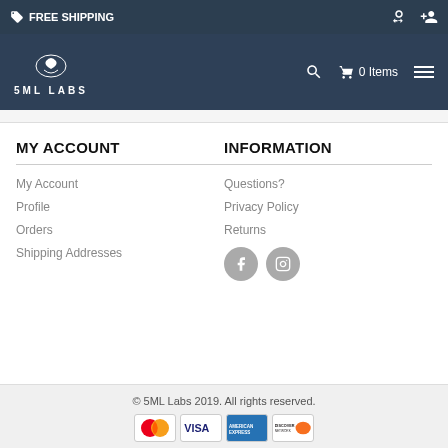FREE SHIPPING
[Figure (logo): 5ML Labs logo with icon and text]
MY ACCOUNT
My Account
Profile
Orders
Shipping Addresses
INFORMATION
Questions?
Privacy Policy
Returns
© 5ML Labs 2019. All rights reserved.